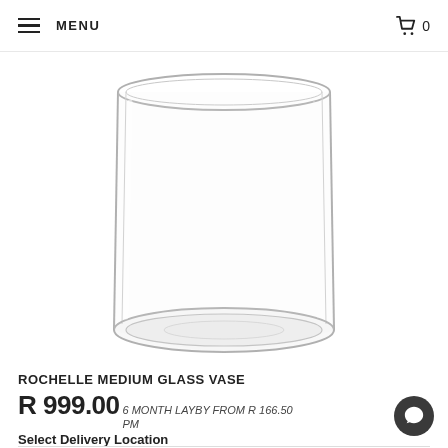MENU | 🛒 0
[Figure (photo): A clear cylindrical glass vase photographed on a white background. The vase is medium height with straight sides and a slightly thick glass base.]
ROCHELLE MEDIUM GLASS VASE
R 999.00  6 MONTH LAYBY FROM R 166.50 PM
Select Delivery Location